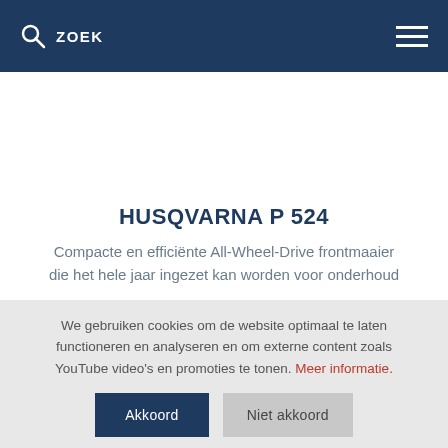ZOEK
HUSQVARNA P 524
Compacte en efficiënte All-Wheel-Drive frontmaaier die het hele jaar ingezet kan worden voor onderhoud
We gebruiken cookies om de website optimaal te laten functioneren en analyseren en om externe content zoals YouTube video's en promoties te tonen. Meer informatie.